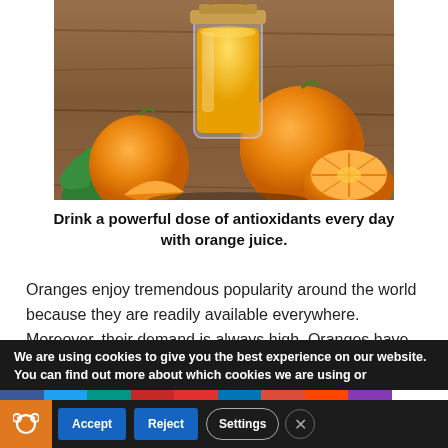[Figure (photo): A glass jar of orange juice surrounded by whole and halved oranges with green leaves on a wooden surface.]
Drink a powerful dose of antioxidants every day with orange juice.
Oranges enjoy tremendous popularity around the world because they are readily available everywhere. Moreover, their demand is always high. Oranges have quite a
We are using cookies to give you the best experience on our website.
You can find out more about which cookies we are using or
[Figure (screenshot): Social sharing bar with icons: Facebook, Twitter, MeWe, Parler, Flipboard, LinkedIn, Goodreads, Reddit, Instagram, and a Tweet text link.]
Accept   Reject   Settings   ✕